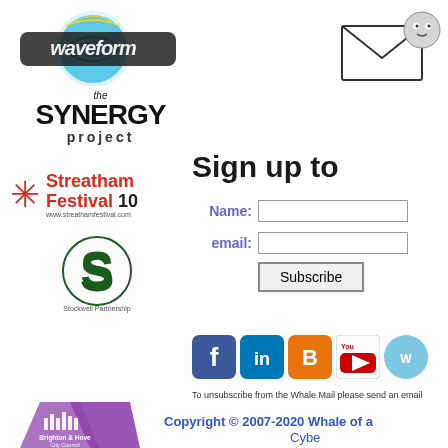[Figure (logo): Waveform logo with blue circular wave design and stylized text]
[Figure (logo): The Synergy Project logo in black bold text]
[Figure (logo): Streatham Festival 10 logo with red snowflake icon]
[Figure (logo): Stockwell Partnership logo with large green S and small hands]
[Figure (logo): The 2011 Green Gathering banner with teal background]
[Figure (logo): Brighton and Hove City Council logo in purple]
[Figure (illustration): Email envelope icon with cartoon character peeking out]
Sign up to
Name: [input field]
email: [input field]
Subscribe button
[Figure (infographic): Social media icons: Facebook, LinkedIn, Blogger, YouTube, and one more]
To unsubscribe from the Whale Mail please send an email
Copyright © 2007-2020 Whale of a
Cybe